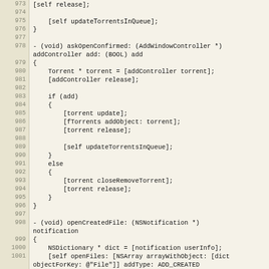[Figure (screenshot): Source code listing in Objective-C showing lines 973-1002, with line numbers on the left in a tan/beige gutter and code on the right with light background. Code includes methods askOpenConfirmed and openCreatedFile.]